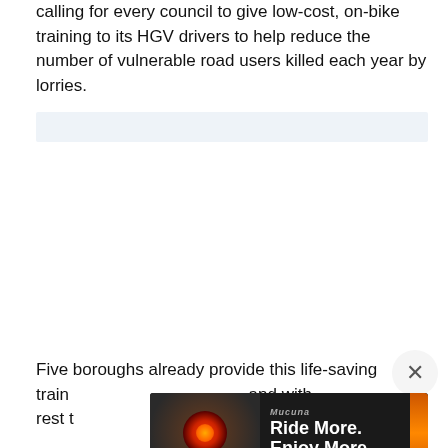calling for every council to give low-cost, on-bike training to its HGV drivers to help reduce the number of vulnerable road users killed each year by lorries.
[Figure (other): Light blue/grey advertisement placeholder bar]
Five boroughs already provide this life-saving train and with the rest t
[Figure (screenshot): Advertisement banner showing a red bicycle light glowing on a dark background with text 'Ride More. Enjoy More' from Mucuna brand, with a close X button]